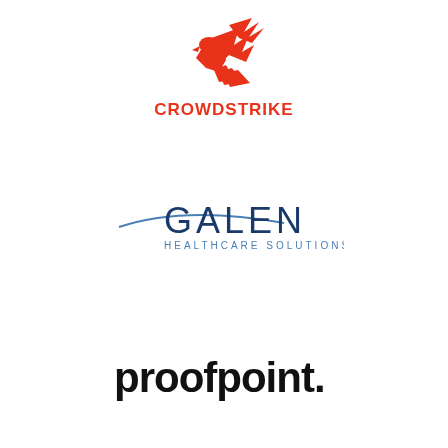[Figure (logo): CrowdStrike logo with red falcon bird and red bold text CROWDSTRIKE below]
[Figure (logo): Galen Healthcare Solutions logo with blue arc/swoosh line and blue text GALEN HEALTHCARE SOLUTIONS]
[Figure (logo): Proofpoint logo with lowercase black bold text proofpoint followed by a period/registered mark]